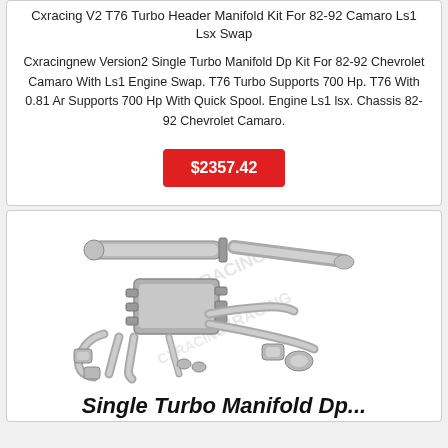Cxracing V2 T76 Turbo Header Manifold Kit For 82-92 Camaro Ls1 Lsx Swap
Cxracingnew Version2 Single Turbo Manifold Dp Kit For 82-92 Chevrolet Camaro With Ls1 Engine Swap. T76 Turbo Supports 700 Hp. T76 With 0.81 Ar Supports 700 Hp With Quick Spool. Engine Ls1 lsx. Chassis 82-92 Chevrolet Camaro.
$2357.42
[Figure (photo): Photo of Cxracing single turbo manifold downpipe kit components including headers, pipes, and fittings on white background with CXRACING watermark]
Single Turbo Manifold Dp...